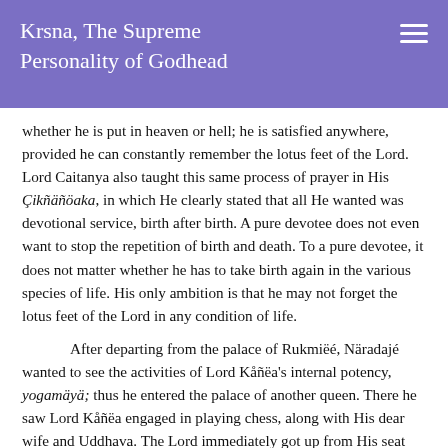Krsna, The Supreme Personality of Godhead
whether he is put in heaven or hell; he is satisfied anywhere, provided he can constantly remember the lotus feet of the Lord. Lord Caitanya also taught this same process of prayer in His Çikñäñöaka, in which He clearly stated that all He wanted was devotional service, birth after birth. A pure devotee does not even want to stop the repetition of birth and death. To a pure devotee, it does not matter whether he has to take birth again in the various species of life. His only ambition is that he may not forget the lotus feet of the Lord in any condition of life.
After departing from the palace of Rukmiëé, Näradajé wanted to see the activities of Lord Kåñëa's internal potency, yogamäyä; thus he entered the palace of another queen. There he saw Lord Kåñëa engaged in playing chess, along with His dear wife and Uddhava. The Lord immediately got up from His seat and invited Närada Muni to sit on His personal seat. The Lord again worshiped him with as much paraphernalia for reception as He had in the palace of Rukmiëé. After worshiping him properly, Lord Kåñëa acted as if He did not know what had